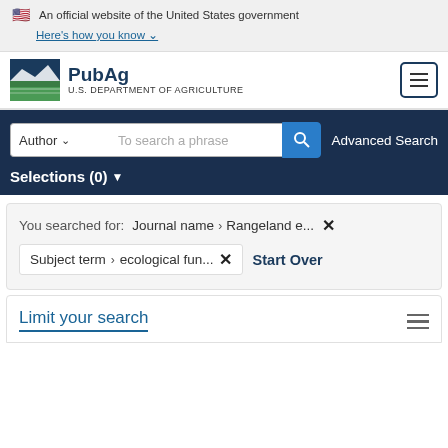An official website of the United States government Here's how you know
[Figure (logo): USDA PubAg logo with text 'PubAg' and 'U.S. DEPARTMENT OF AGRICULTURE']
Author  To search a phrase  Advanced Search
Selections (0)
You searched for: Journal name > Rangeland e... ×  Subject term > ecological fun... ×  Start Over
Limit your search